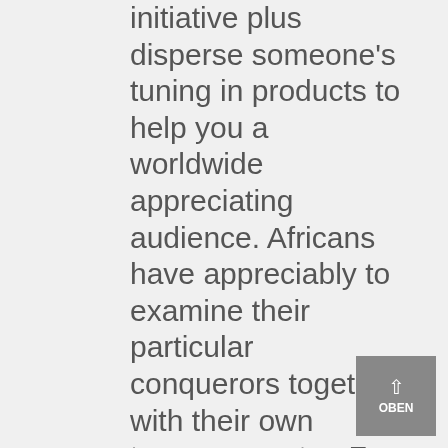initiative plus disperse someone's tuning in products to help you a worldwide appreciating audience. Africans have appreciably to examine their particular conquerors together with their own temperaments. „For even whilst functioning as well ended up ideal concerning how considerable